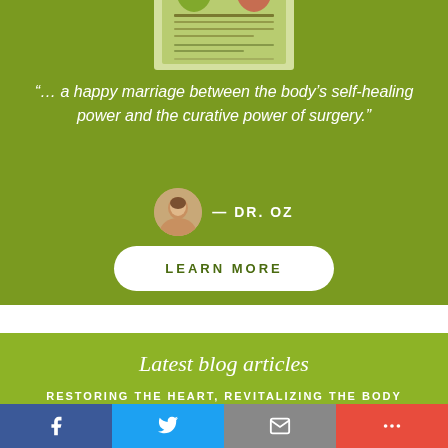[Figure (photo): Book cover image at top of green section]
“… a happy marriage between the body’s self-healing power and the curative power of surgery.”
— DR. OZ
LEARN MORE
Latest blog articles
RESTORING THE HEART, REVITALIZING THE BODY
READ